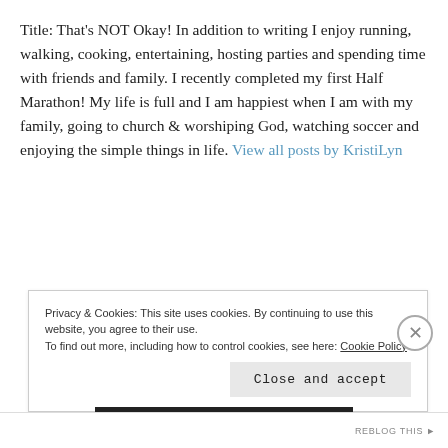Title: That's NOT Okay! In addition to writing I enjoy running, walking, cooking, entertaining, hosting parties and spending time with friends and family. I recently completed my first Half Marathon! My life is full and I am happiest when I am with my family, going to church & worshiping God, watching soccer and enjoying the simple things in life. View all posts by KristiLyn
Privacy & Cookies: This site uses cookies. By continuing to use this website, you agree to their use. To find out more, including how to control cookies, see here: Cookie Policy
Close and accept